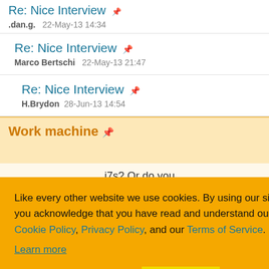Re: Nice Interview
.dan.g.   22-May-13 14:34
Re: Nice Interview
Marco Bertschi   22-May-13 21:47
Re: Nice Interview
H.Brydon   28-Jun-13 14:54
Work machine
i7s? Or do you ... ? Just curious.
Like every other website we use cookies. By using our site you acknowledge that you have read and understand our Cookie Policy, Privacy Policy, and our Terms of Service. Learn more
Ask me later  Decline  Allow cookies
Blog: voidnich.wordpress.com